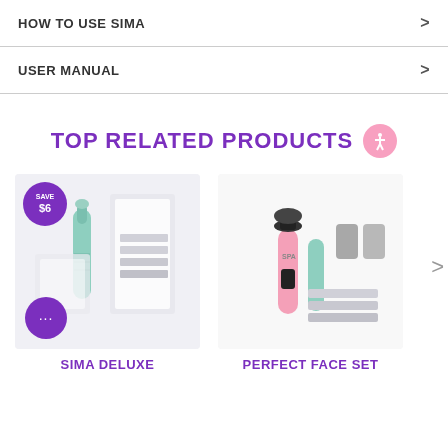HOW TO USE SIMA >
USER MANUAL >
TOP RELATED PRODUCTS
[Figure (illustration): SIMA Deluxe product image showing a mint-green electric exfoliator tool with replacement pads and packaging. Purple 'Save $6' badge in top left corner. Purple chat bubble icon in bottom left.]
SIMA Deluxe
[Figure (illustration): Perfect Face Set product image showing a pink facial tool with black brush head, mint green handle, gray attachments, and replacement pads.]
PERFECT FACE SET